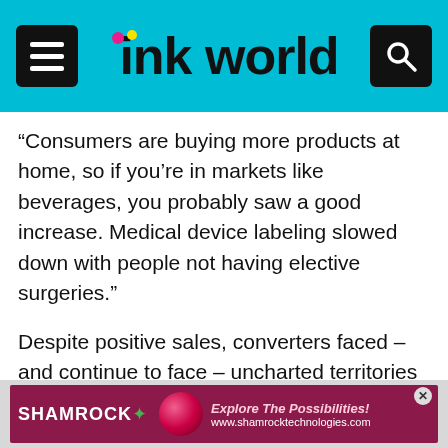ink world
“Consumers are buying more products at home, so if you’re in markets like beverages, you probably saw a good increase. Medical device labeling slowed down with people not having elective surgeries.”
Despite positive sales, converters faced – and continue to face – uncharted territories during the COVID-19 pandemic.
“We saw markets up and down significantly,” explained Gale. “Overall, things ended up being good for the year. My pet answer is if I fell asleep in March and woke up December 31, I’d wake up and say we had a good year.
[Figure (screenshot): Shamrock Technologies advertisement banner at the bottom of the page with text Explore The Possibilities and www.shamrocktechnologies.com]